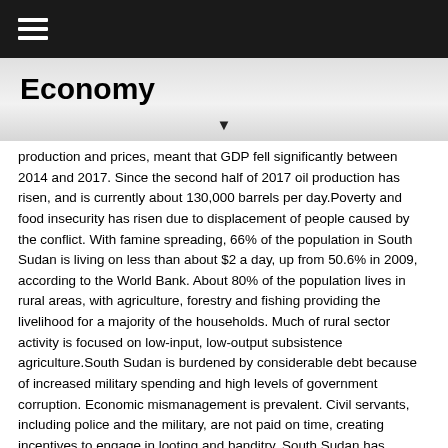≡
Economy
production and prices, meant that GDP fell significantly between 2014 and 2017. Since the second half of 2017 oil production has risen, and is currently about 130,000 barrels per day.Poverty and food insecurity has risen due to displacement of people caused by the conflict. With famine spreading, 66% of the population in South Sudan is living on less than about $2 a day, up from 50.6% in 2009, according to the World Bank. About 80% of the population lives in rural areas, with agriculture, forestry and fishing providing the livelihood for a majority of the households. Much of rural sector activity is focused on low-input, low-output subsistence agriculture.South Sudan is burdened by considerable debt because of increased military spending and high levels of government corruption. Economic mismanagement is prevalent. Civil servants, including police and the military, are not paid on time, creating incentives to engage in looting and banditry. South Sudan has received more than $11 billion in foreign aid since 2005, largely from the US, the UK, and the EU. Inflation peaked at over 800% per year in October 2016 but dropped to 118% in 2017. The government has funded its expenditures by borrowing from the central bank and foreign sources, using forward sales of oil as collateral. The central bank's decision to adopt a managed floating exchange rate regime in December 2015 triggered a 97% depreciation of the currency and spawned a growing black market.Long-term challenges include rooting out public sector corruption, improving agricultural productivity, alleviating